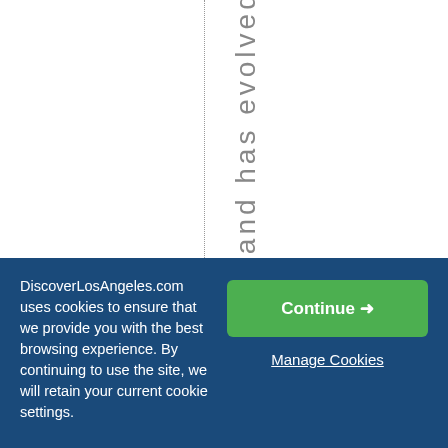A brand has evolved f
DiscoverLosAngeles.com uses cookies to ensure that we provide you with the best browsing experience. By continuing to use the site, we will retain your current cookie settings.
Continue →
Manage Cookies